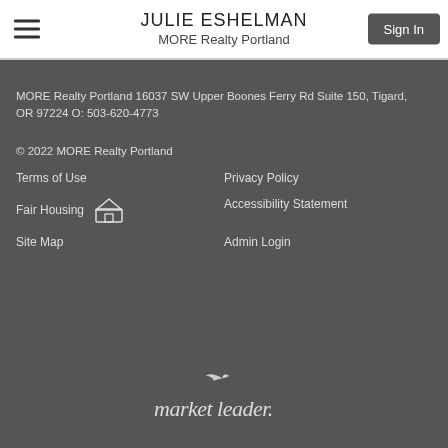JULIE ESHELMAN
MORE Realty Portland
MORE Realty Portland 16037 SW Upper Boones Ferry Rd Suite 150, Tigard, OR 97224 O: 503-620-4773
© 2022 MORE Realty Portland
Terms of Use
Privacy Policy
Fair Housing
Accessibility Statement
Site Map
Admin Login
[Figure (logo): market leader. logo in white italic text with a bird silhouette above]